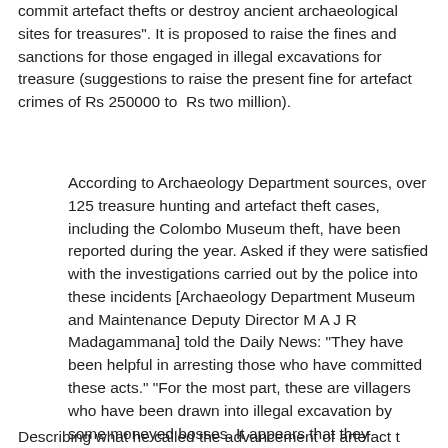commit artefact thefts or destroy ancient archaeological sites for treasures". It is proposed to raise the fines and sanctions for those engaged in illegal excavations for treasure (suggestions to raise the present fine for artefact crimes of Rs 250000 to Rs two million).
According to Archaeology Department sources, over 125 treasure hunting and artefact theft cases, including the Colombo Museum theft, have been reported during the year. Asked if they were satisfied with the investigations carried out by the police into these incidents [Archaeology Department Museum and Maintenance Deputy Director M A J R Madagammana] told the Daily News: "They have been helpful in arresting those who have committed these acts." "For the most part, these are villagers who have been drawn into illegal excavation by some moneyed bosses. It appears that they somehow get away," he said.
Describing what he called the advancement of artefact t...